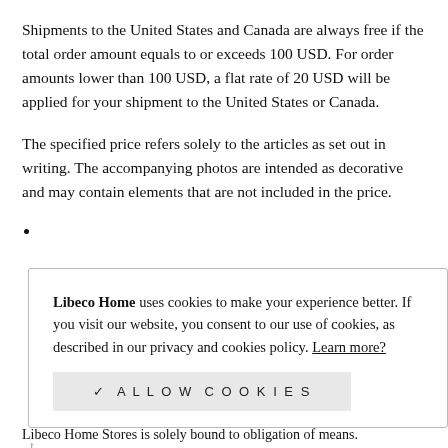Shipments to the United States and Canada are always free if the total order amount equals to or exceeds 100 USD. For order amounts lower than 100 USD, a flat rate of 20 USD will be applied for your shipment to the United States or Canada.
The specified price refers solely to the articles as set out in writing. The accompanying photos are intended as decorative and may contain elements that are not included in the price.
Libeco Home uses cookies to make your experience better. If you visit our website, you consent to our use of cookies, as described in our privacy and cookies policy. Learn more?
✓  ALLOW COOKIES
Libeco Home Stores is solely bound to obligation of means.